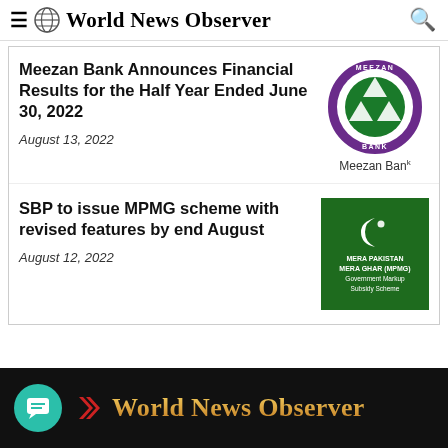World News Observer
Meezan Bank Announces Financial Results for the Half Year Ended June 30, 2022
August 13, 2022
[Figure (logo): Meezan Bank circular logo with green triangle icon and text 'MEEZAN BANK', below it text 'Meezan Bank']
SBP to issue MPMG scheme with revised features by end August
August 12, 2022
[Figure (logo): Green background image with crescent moon icon, text 'MERA PAKISTAN MERA GHAR (MPMG) Government Markup Subsidy Scheme']
World News Observer